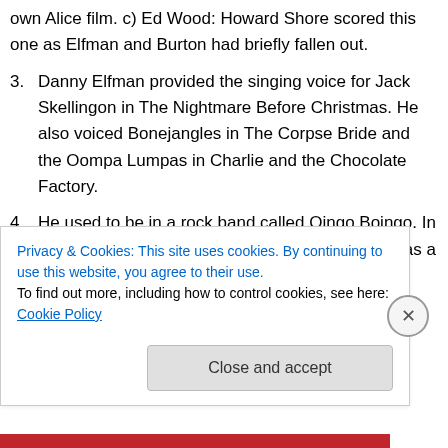own Alice film. c) Ed Wood: Howard Shore scored this one as Elfman and Burton had briefly fallen out.
3. Danny Elfman provided the singing voice for Jack Skellingon in The Nightmare Before Christmas. He also voiced Bonejangles in The Corpse Bride and the Oompa Lumpas in Charlie and the Chocolate Factory.
4. He used to be in a rock band called Oingo Boingo. In recent years, he has complained of hearing loss as a result. He is 63.
5. He composed the iconic TV themes for The Simpsons and Desperate Housewives.
Privacy & Cookies: This site uses cookies. By continuing to use this website, you agree to their use. To find out more, including how to control cookies, see here: Cookie Policy